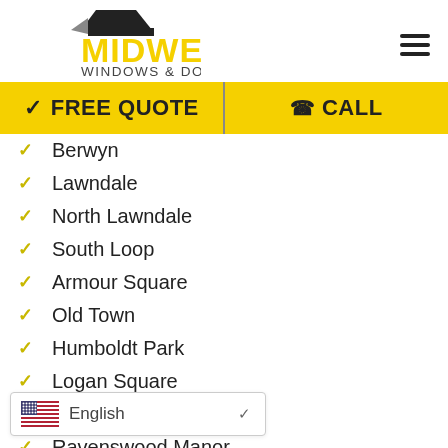[Figure (logo): Midwest Windows & Doors logo with house roof silhouette and yellow bold text]
FREE QUOTE | CALL
Berwyn
Lawndale
North Lawndale
South Loop
Armour Square
Old Town
Humboldt Park
Logan Square
Roscoe Village
Ravenswood Manor
North Riverside
La Grange Highlands
Hickory Hills
English